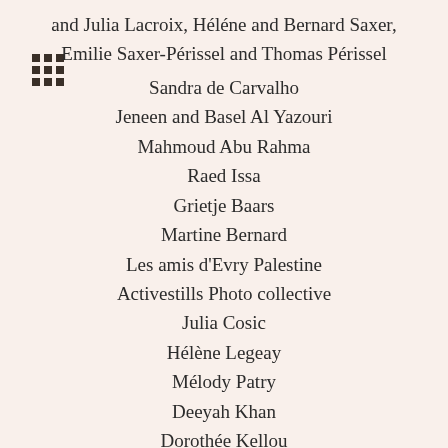and Julia Lacroix, Héléne and Bernard Saxer, Emilie Saxer-Périssel and Thomas Périssel
Sandra de Carvalho
Jeneen and Basel Al Yazouri
Mahmoud Abu Rahma
Raed Issa
Grietje Baars
Martine Bernard
Les amis d'Evry Palestine
Activestills Photo collective
Julia Cosic
Hélène Legeay
Mélody Patry
Deeyah Khan
Dorothée Kellou